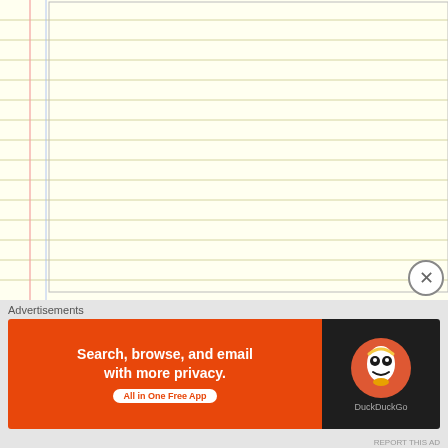[Figure (screenshot): Yellow lined paper background with vertical red/blue margin lines on the left side]
Name *
Email *
Website
Post Comment
Notify me of new comments via email.
Advertisements
[Figure (screenshot): DuckDuckGo advertisement banner: 'Search, browse, and email with more privacy. All in One Free App' with DuckDuckGo logo on dark right panel]
REPORT THIS AD